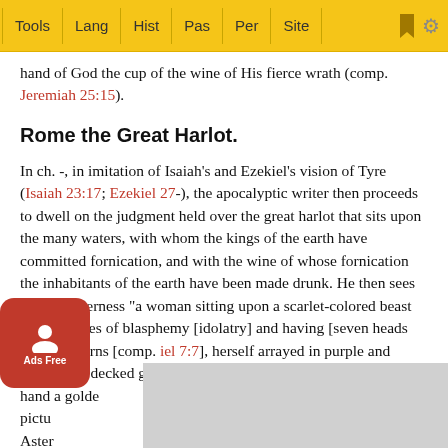Tools | Lang | Hist | Pas | Per | Site
hand of God the cup of the wine of His fierce wrath (comp. Jeremiah 25:15).
Rome the Great Harlot.
In ch. -, in imitation of Isaiah's and Ezekiel's vision of Tyre (Isaiah 23:17; Ezekiel 27-), the apocalyptic writer then proceeds to dwell on the judgment held over the great harlot that sits upon the many waters, with whom the kings of the earth have committed fornication, and with the wine of whose fornication the inhabitants of the earth have been made drunk. He then sees in the wilderness "a woman sitting upon a scarlet-colored beast full of names of blasphemy [idolatry] and having [seven heads and] ten horns [comp. iel 7:7], herself arrayed in purple and scarlet and decked gold and precious stones, and holding in her hand a golde pictu ns of Aster…